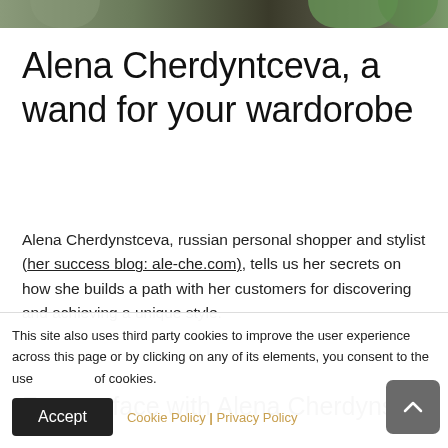[Figure (photo): Top portion of a photograph showing a person with plants/greenery in the background, cropped at the top of the page]
Alena Cherdyntceva, a wand for your wardorobe
Alena Cherdynstceva, russian personal shopper and stylist (her success blog: ale-che.com), tells us her secrets on how she builds a path with her customers for discovering and achieving a unique style.
Face to face with Alena Cherdynstceva
This site also uses third party cookies to improve the user experience across this page or by clicking on any of its elements, you consent to the use of cookies.